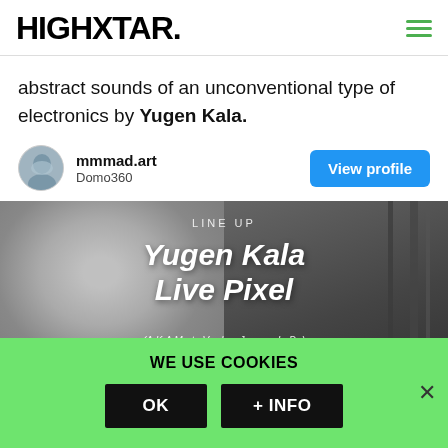HIGHXTAR.
abstract sounds of an unconventional type of electronics by Yugen Kala.
mmmad.art
Domo360
[Figure (screenshot): Event lineup image showing 'LINE UP / Yugen Kala / Live Pixel / (A.K.A Marta Verde y Juanma LoDo)' text over a split black and white background, left side showing a face silhouette, right side showing dark industrial elements.]
WE USE COOKIES
OK
+ INFO